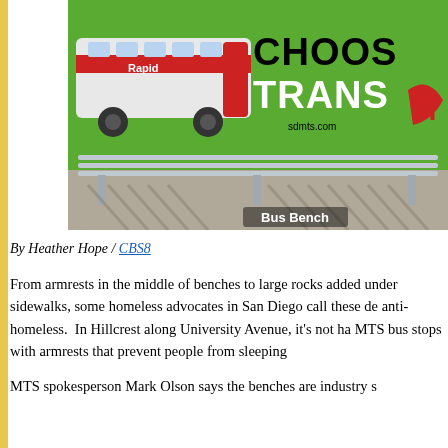[Figure (photo): Photo of a bus stop bench with an MTS advertisement billboard in the background showing a red rapid bus and text 'CHOOSE TRANSIT' with sdmts.com URL. A metal slatted bench is in the foreground. Caption reads 'Bus Bench'.]
By Heather Hope / CBS8
From armrests in the middle of benches to large rocks added under sidewalks, some homeless advocates in San Diego call these de anti-homeless. In Hillcrest along University Avenue, it's not ha MTS bus stops with armrests that prevent people from sleeping
MTS spokesperson Mark Olson says the benches are industry s